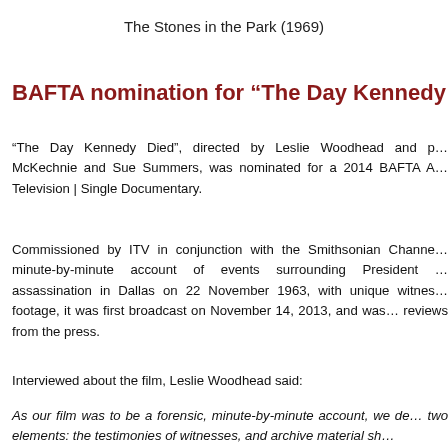The Stones in the Park (1969)
BAFTA nomination for “The Day Kennedy Die…
“The Day Kennedy Died”, directed by Leslie Woodhead and p… McKechnie and Sue Summers, was nominated for a 2014 BAFTA A… Television | Single Documentary.
Commissioned by ITV in conjunction with the Smithsonian Channe… minute-by-minute account of events surrounding President … assassination in Dallas on 22 November 1963, with unique witnes… footage, it was first broadcast on November 14, 2013, and was… reviews from the press.
Interviewed about the film, Leslie Woodhead said:
As our film was to be a forensic, minute-by-minute account, we de… two elements: the testimonies of witnesses, and archive material sh…